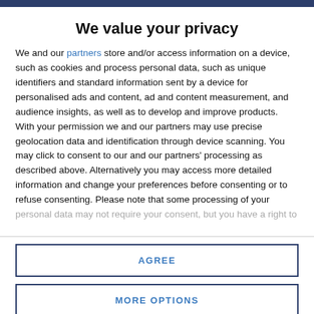We value your privacy
We and our partners store and/or access information on a device, such as cookies and process personal data, such as unique identifiers and standard information sent by a device for personalised ads and content, ad and content measurement, and audience insights, as well as to develop and improve products. With your permission we and our partners may use precise geolocation data and identification through device scanning. You may click to consent to our and our partners' processing as described above. Alternatively you may access more detailed information and change your preferences before consenting or to refuse consenting. Please note that some processing of your personal data may not require your consent, but you have a right to
AGREE
MORE OPTIONS
[Figure (photo): Bottom portion of page showing a partially visible photo with blue tones]